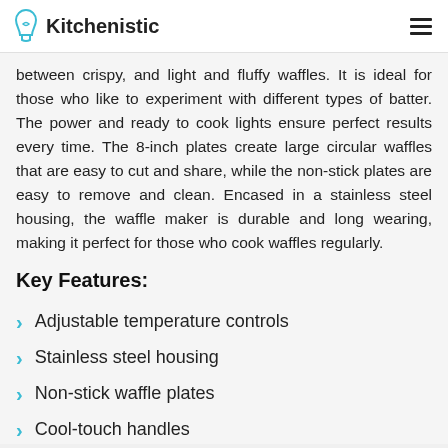Kitchenistic
between crispy, and light and fluffy waffles. It is ideal for those who like to experiment with different types of batter. The power and ready to cook lights ensure perfect results every time. The 8-inch plates create large circular waffles that are easy to cut and share, while the non-stick plates are easy to remove and clean. Encased in a stainless steel housing, the waffle maker is durable and long wearing, making it perfect for those who cook waffles regularly.
Key Features:
Adjustable temperature controls
Stainless steel housing
Non-stick waffle plates
Cool-touch handles